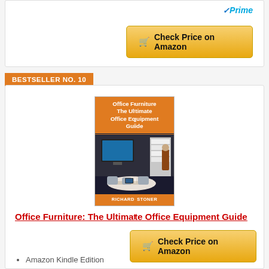[Figure (screenshot): Amazon Prime badge with blue checkmark and 'Prime' text in blue italic]
[Figure (screenshot): Gold 'Check Price on Amazon' button with shopping cart icon]
BESTSELLER NO. 10
[Figure (photo): Book cover: 'Office Furniture The Ultimate Office Equipment Guide' by Richard Stoner. Orange header and footer, photo of modern conference room with chairs, table, monitor, and bookshelf.]
Office Furniture: The Ultimate Office Equipment Guide
Amazon Kindle Edition
Stoner, Richard (Author)
[Figure (screenshot): Gold 'Check Price on Amazon' button with shopping cart icon]